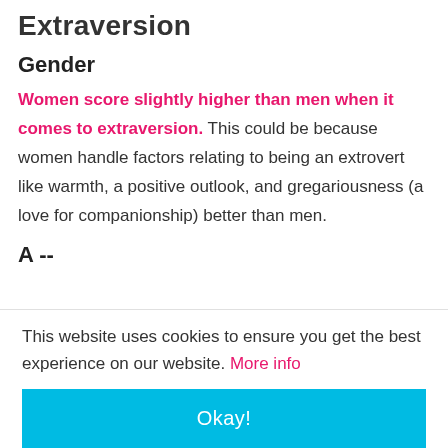Extraversion
Gender
Women score slightly higher than men when it comes to extraversion. This could be because women handle factors relating to being an extrovert like warmth, a positive outlook, and gregariousness (a love for companionship) better than men.
A...
This website uses cookies to ensure you get the best experience on our website. More info
Okay!